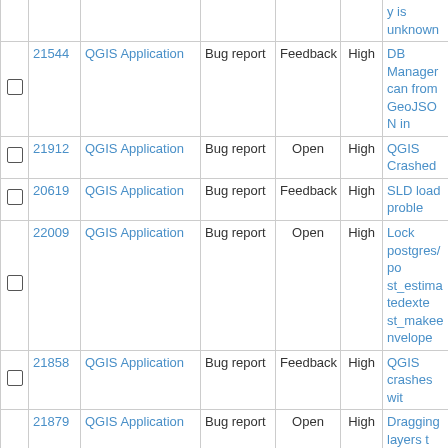|  | # | Project | Tracker | Status | Priority | Subject |
| --- | --- | --- | --- | --- | --- | --- |
|  |  |  |  |  |  | y is unknown |
| ☐ | 21544 | QGIS Application | Bug report | Feedback | High | DB Manager can from GeoJSON in |
| ☐ | 21912 | QGIS Application | Bug report | Open | High | QGIS Crashed |
| ☐ | 20619 | QGIS Application | Bug report | Feedback | High | SLD load proble |
| ☐ | 22009 | QGIS Application | Bug report | Open | High | Lock postgres/po st_estimatedexte st_makeenvelope |
| ☐ | 21858 | QGIS Application | Bug report | Feedback | High | QGIS crashes wit |
| ☐ | 21879 | QGIS Application | Bug report | Open | High | Dragging layers t panel will reload t losing data |
| ☐ | 22128 | QGIS Application | Bug report | Feedback | High | Error |
| ☐ | 22047 | QGIS Application | Bug report | Feedback | High | Crashed with Fiel |
| ☐ | 21851 | QGIS Application | Bug report | Feedback | High | qgis crashed in a |
| ☐ | 21857 | QGIS Application | Bug report | Open | High | QGIS crashes du rendering after Cl |
| ☐ | 22126 | QGIS Application | Bug report | Feedback | High | Qgis crashes whe layer |
| ☐ | 22050 | QGIS Application | Bug report | Open | High | Crashing and ger reprojection to IG |
| ☐ | 22119 | QGIS Application | Bug report | Open | High | crashed when sa |
| ☐ | 21815 | QGIS Application | Bug report | Open | High | Editing a GeoPac spaces in the fiel QGIS |
| ☐ | 21720 | QGIS Application | Bug report | Feedback | High | Processing: pytho |
| ☐ | 21619 | QGIS Application | Bug report | Feedback | High | Check geometries |